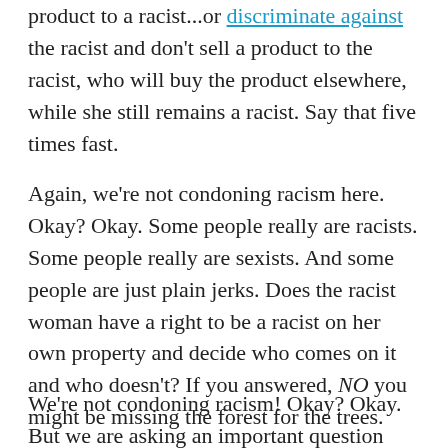product to a racist...or discriminate against the racist and don't sell a product to the racist, who will buy the product elsewhere, while she still remains a racist. Say that five times fast.
Again, we're not condoning racism here. Okay? Okay. Some people really are racists. Some people really are sexists. And some people are just plain jerks. Does the racist woman have a right to be a racist on her own property and decide who comes on it and who doesn't? If you answered, NO you might be missing the forest for the trees.
We're not condoning racism! Okay? Okay. But we are asking an important question about rights and responsibilities...